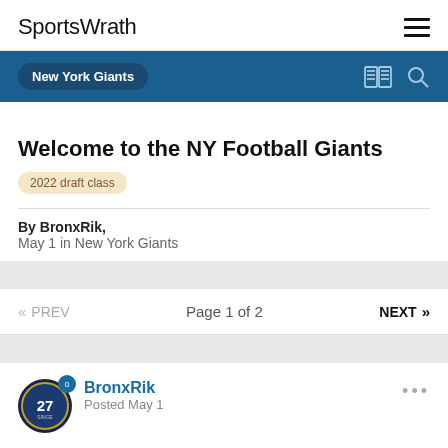SportsWrath
New York Giants
Welcome to the NY Football Giants
2022 draft class
By BronxRik, May 1 in New York Giants
« PREV  Page 1 of 2  NEXT »
BronxRik
Posted May 1
Draft class of 2022: